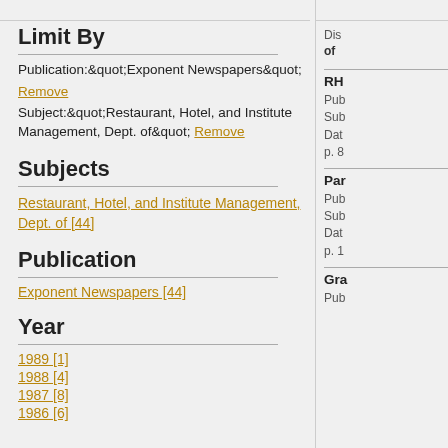Limit By
Publication:&quot;Exponent Newspapers&quot;
Remove
Subject:&quot;Restaurant, Hotel, and Institute Management, Dept. of&quot; Remove
Subjects
Restaurant, Hotel, and Institute Management, Dept. of [44]
Publication
Exponent Newspapers [44]
Year
1989 [1]
1988 [4]
1987 [8]
1986 [6]
Dis of
RH
Pub Sub Dat p. 8
Par
Pub Sub Dat p. 1
Gra
Pub